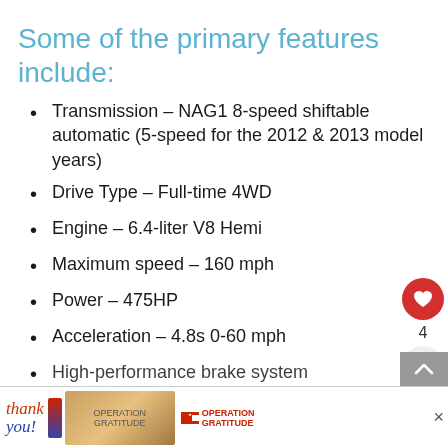Some of the primary features include:
Transmission – NAG1 8-speed shiftable automatic (5-speed for the 2012 & 2013 model years)
Drive Type – Full-time 4WD
Engine – 6.4-liter V8 Hemi
Maximum speed – 160 mph
Power – 475HP
Acceleration – 4.8s 0-60 mph
High-performance brake system
[Figure (photo): Operation Gratitude advertisement banner with thank you message and healthcare workers photo]